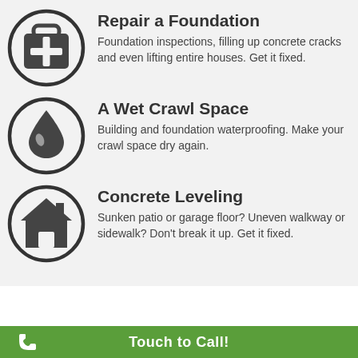Repair a Foundation
Foundation inspections, filling up concrete cracks and even lifting entire houses. Get it fixed.
A Wet Crawl Space
Building and foundation waterproofing. Make your crawl space dry again.
Concrete Leveling
Sunken patio or garage floor? Uneven walkway or sidewalk? Don't break it up. Get it fixed.
Touch to Call!